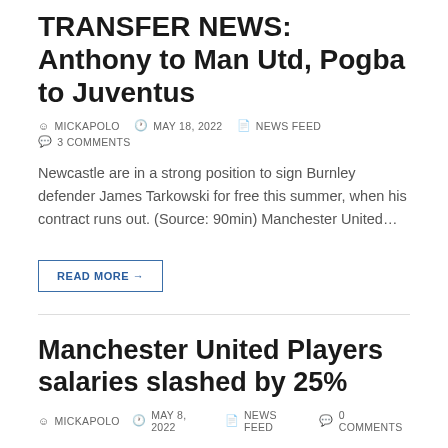TRANSFER NEWS: Anthony to Man Utd, Pogba to Juventus
MICKAPOLO   MAY 18, 2022   NEWS FEED   3 COMMENTS
Newcastle are in a strong position to sign Burnley defender James Tarkowski for free this summer, when his contract runs out. (Source: 90min) Manchester United…
READ MORE →
Manchester United Players salaries slashed by 25%
MICKAPOLO   MAY 8, 2022   NEWS FEED   0 COMMENTS
🔴 After failing to qualify for the Champions League, most of